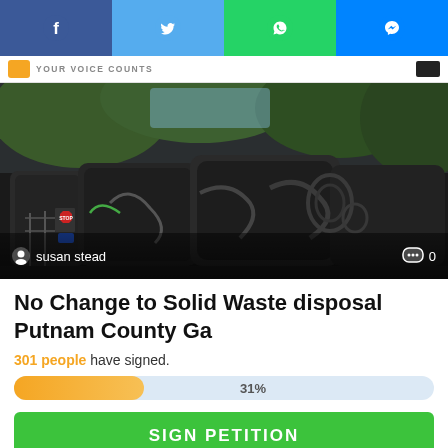[Figure (screenshot): Social media share bar with Facebook, Twitter, WhatsApp, and Messenger buttons]
YOUR VOICE COUNTS
[Figure (photo): Outdoor photo of large graffiti-covered dark metal waste/dumpster containers under trees, with a stop sign visible on the left. Author: susan stead, comments: 0]
No Change to Solid Waste disposal Putnam County Ga
301 people have signed.
[Figure (infographic): Progress bar showing 31% completion, orange fill on light blue background]
SIGN PETITION